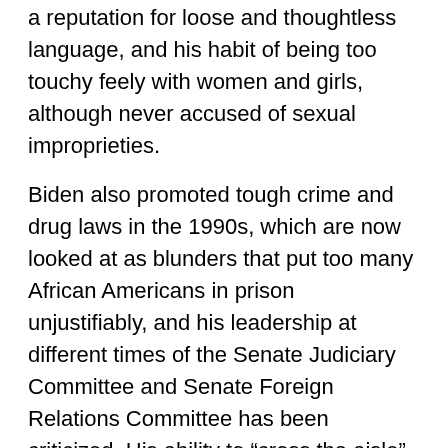a reputation for loose and thoughtless language, and his habit of being too touchy feely with women and girls, although never accused of sexual improprieties.
Biden also promoted tough crime and drug laws in the 1990s, which are now looked at as blunders that put too many African Americans in prison unjustifiably, and his leadership at different times of the Senate Judiciary Committee and Senate Foreign Relations Committee has been criticized. His ability to “cross the aisle” and work with many Republicans is seen by some as a weakness, while others see it as a strength.
Biden is a centrist Democrat in 2019 at a time when many progressives are much further to the left than him, and one wonders if he could gain the support of those to his left if he wins the